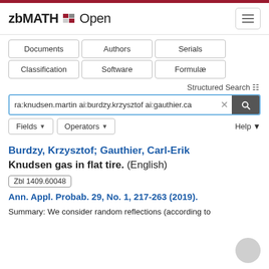zbMATH Open
Documents
Authors
Serials
Classification
Software
Formulae
Structured Search
ra:knudsen.martin ai:burdzy.krzysztof ai:gauthier.ca
Burdzy, Krzysztof; Gauthier, Carl-Erik
Knudsen gas in flat tire. (English)
Zbl 1409.60048
Ann. Appl. Probab. 29, No. 1, 217-263 (2019).
Summary: We consider random reflections (according to